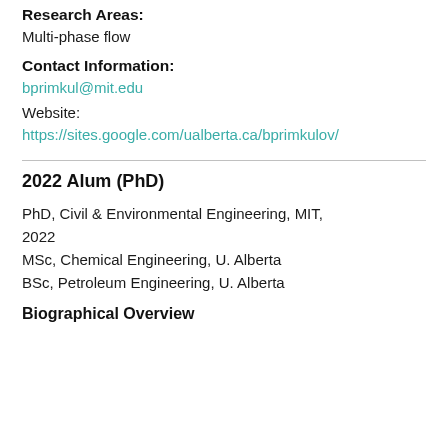Research Areas:
Multi-phase flow
Contact Information:
bprimkul@mit.edu
Website:
https://sites.google.com/ualberta.ca/bprimkulov/
2022 Alum (PhD)
PhD, Civil & Environmental Engineering, MIT, 2022
MSc, Chemical Engineering, U. Alberta
BSc, Petroleum Engineering, U. Alberta
Biographical Overview